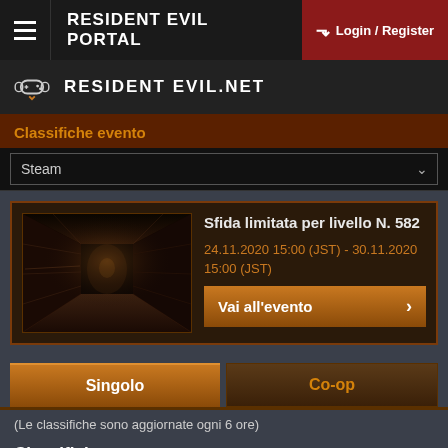RESIDENT EVIL PORTAL — Login / Register
RESIDENT EVIL.NET
Classifiche evento
Steam
[Figure (screenshot): Dark corridor scene from Resident Evil game — dim hallway with reddish-brown walls and atmospheric lighting]
Sfida limitata per livello N. 582
24.11.2020 15:00 (JST) - 30.11.2020 15:00 (JST)
Vai all'evento
Singolo
Co-op
(Le classifiche sono aggiornate ogni 6 ore)
Classifiche